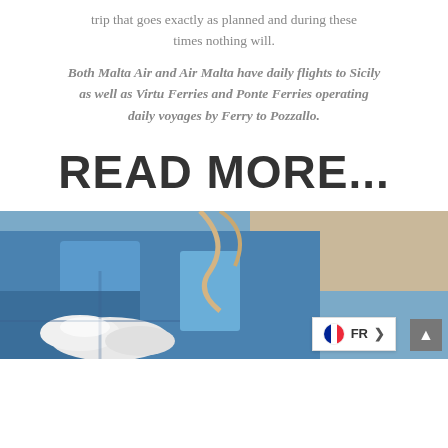trip that goes exactly as planned and during these times nothing will.
Both Malta Air and Air Malta have daily flights to Sicily as well as Virtu Ferries and Ponte Ferries operating daily voyages by Ferry to Pozzallo.
READ MORE...
[Figure (photo): Close-up photo of a medical professional in blue scrubs and white gloves, with a stethoscope, appearing to perform or prepare for a medical procedure. A language selection badge showing 'FR' with a French flag icon is overlaid at the bottom right.]